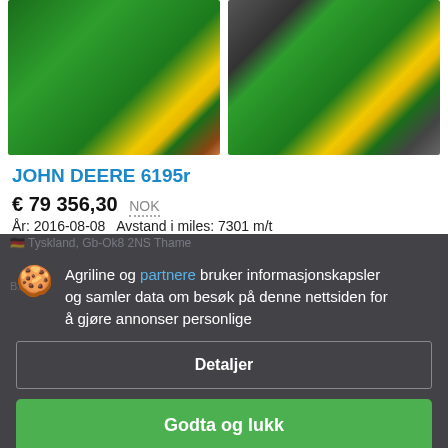[Figure (photo): Two photos of a John Deere 6195r green tractor with yellow wheels side by side]
JOHN DEERE 6195r
€ 79 356,30  NOK
År: 2016-08-08   Avstand i miles: 7301 m/t
Agriline og partnere bruker informasjonskapsler og samler data om besøk på denne nettsiden for å gjøre annonser personlige
Detaljer
Godta og lukk